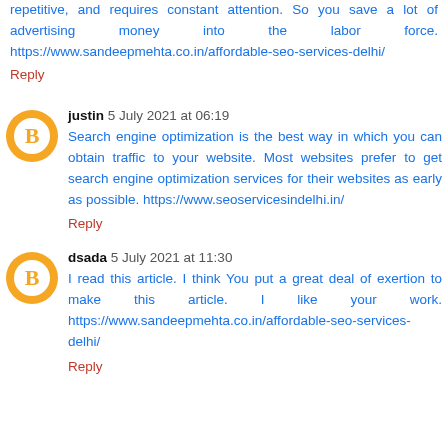repetitive, and requires constant attention. So you save a lot of advertising money into the labor force. https://www.sandeepmehta.co.in/affordable-seo-services-delhi/
Reply
justin 5 July 2021 at 06:19
Search engine optimization is the best way in which you can obtain traffic to your website. Most websites prefer to get search engine optimization services for their websites as early as possible. https://www.seoservicesindelhi.in/
Reply
dsada 5 July 2021 at 11:30
I read this article. I think You put a great deal of exertion to make this article. I like your work. https://www.sandeepmehta.co.in/affordable-seo-services-delhi/
Reply